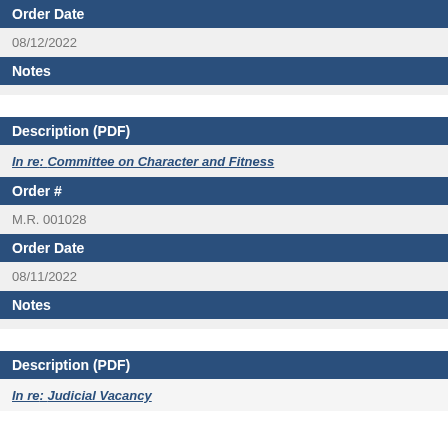Order Date
08/12/2022
Notes
Description (PDF)
In re: Committee on Character and Fitness
Order #
M.R. 001028
Order Date
08/11/2022
Notes
Description (PDF)
In re: Judicial Vacancy